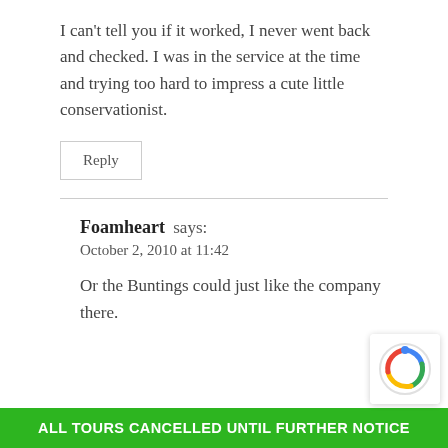I can't tell you if it worked, I never went back and checked. I was in the service at the time and trying too hard to impress a cute little conservationist.
Reply
Foamheart says:
October 2, 2010 at 11:42
Or the Buntings could just like the company there.
ALL TOURS CANCELLED UNTIL FURTHER NOTICE